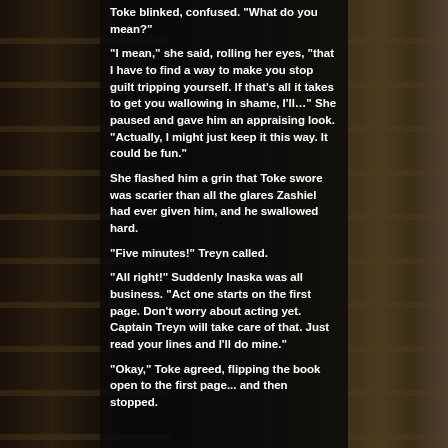Toke blinked, confused. "What do you mean?"

"I mean," she said, rolling her eyes, "that I have to find a way to make you stop guilt tripping yourself. If that's all it takes to get you wallowing in shame, I'll..." She paused and gave him an appraising look. "Actually, I might just keep it this way. It could be fun."

She flashed him a grin that Toke swore was scarier than all the glares Zashiel had ever given him, and he swallowed hard.

"Five minutes!" Treyn called.

"All right!" Suddenly Inaska was all business. "Act one starts on the first page. Don't worry about acting yet. Captain Treyn will take care of that. Just read your lines and I'll do mine."

"Okay," Toke agreed, flipping the book open to the first page... and then stopped.